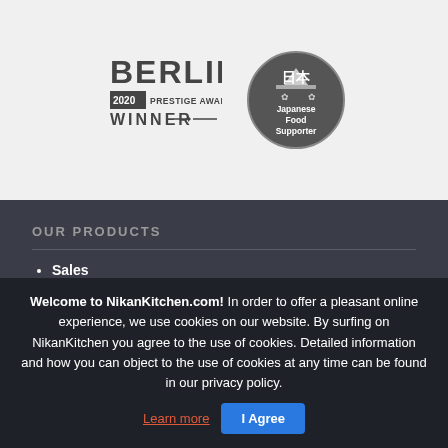[Figure (logo): Berlin 2020 Prestige Awards Winner badge and Japanese Food Supporter circular badge in grayscale]
OUR PRODUCTS
Sales
NikanBox
Food
Snacks
Welcome to NikanKitchen.com! In order to offer a pleasant online experience, we use cookies on our website. By surfing on NikanKitchen you agree to the use of cookies. Detailed information and how you can object to the use of cookies at any time can be found in our privacy policy. Learn more  I Agree